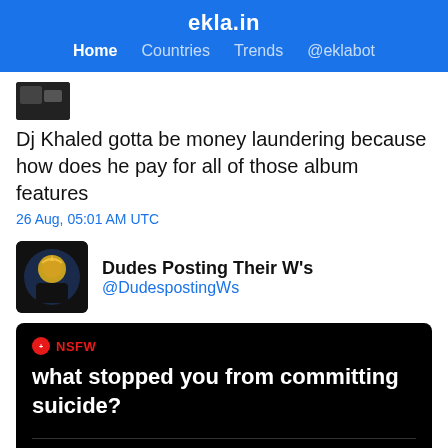ekla.in — Home | Countries | Trends | @eklabot
Dj Khaled gotta be money laundering because how does he pay for all of those album features
26 Aug, 05:01 AM UTC
Dudes Posting Their W's @DudespostingWs
[Figure (screenshot): Reddit-style post card with black background. NSFW badge in red. Question text: 'what stopped you from committing suicide?' Upvote count 6592, comment count 6590, Share button, and TOP COMMENTS section.]